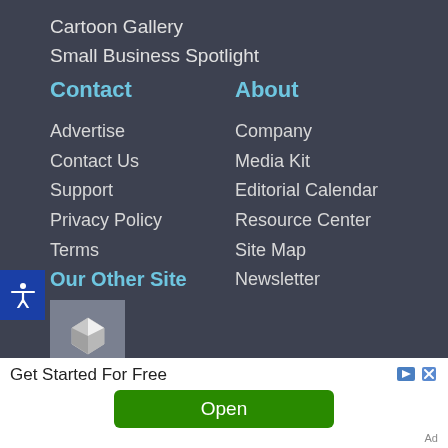Cartoon Gallery
Small Business Spotlight
Contact
About
Advertise
Company
Contact Us
Media Kit
Support
Editorial Calendar
Privacy Policy
Resource Center
Terms
Site Map
Newsletter
[Figure (illustration): Accessibility icon (person with arms outstretched) on blue background]
Our Other Site
[Figure (logo): Small gray square with white 3D cube/gem icon]
Get Started For Free
Open
Ad